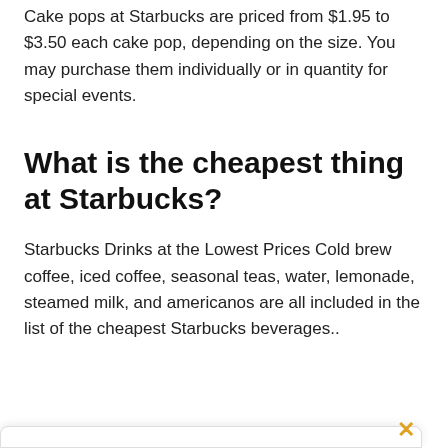Cake pops at Starbucks are priced from $1.95 to $3.50 each cake pop, depending on the size. You may purchase them individually or in quantity for special events.
What is the cheapest thing at Starbucks?
Starbucks Drinks at the Lowest Prices Cold brew coffee, iced coffee, seasonal teas, water, lemonade, steamed milk, and americanos are all included in the list of the cheapest Starbucks beverages..